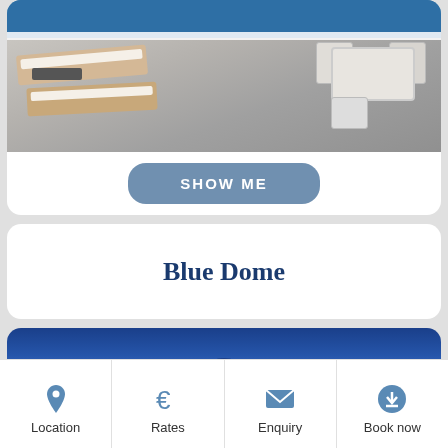[Figure (photo): Rooftop terrace photo showing sunbeds on the left and white outdoor dining table and chairs on the right, with a white railing and blue sea visible in the background]
SHOW ME
Blue Dome
[Figure (photo): Close-up photo of a whitewashed building facade with a blue dome/roof against a deep blue sky]
Location
Rates
Enquiry
Book now